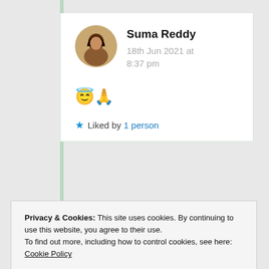Suma Reddy
18th Jun 2021 at 8:37 pm
😇🙏
★ Liked by 1 person
Advertisements
[Figure (other): Red advertisement banner with circular logo and text]
Privacy & Cookies: This site uses cookies. By continuing to use this website, you agree to their use.
To find out more, including how to control cookies, see here: Cookie Policy
Close and accept